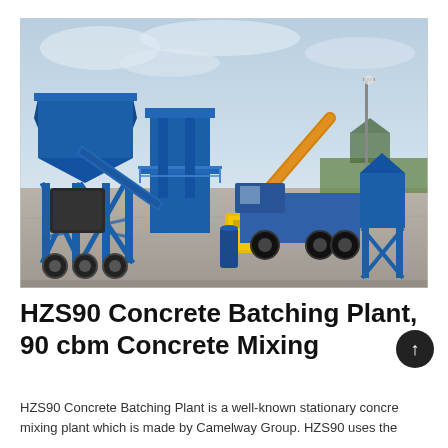[Figure (photo): A large blue HZS90 concrete batching plant with mixer, conveyor belt, aggregate bins, and a yellow generator, parked on a concrete lot. A blue dump truck is visible in the background along with a secondary blue bin structure on the right side. Overcast sky background.]
HZS90 Concrete Batching Plant, 90 cbm Concrete Mixing
HZS90 Concrete Batching Plant is a well-known stationary concrete mixing plant which is made by Camelway Group. HZS90 uses the